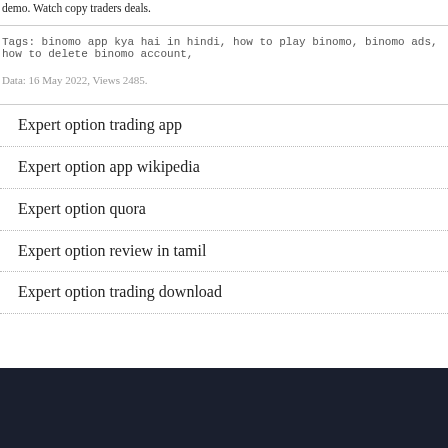demo. Watch copy traders deals.
Tags: binomo app kya hai in hindi, how to play binomo, binomo ads, how to delete binomo account,
Data: 16 May 2022, Views 2485.
Expert option trading app
Expert option app wikipedia
Expert option quora
Expert option review in tamil
Expert option trading download